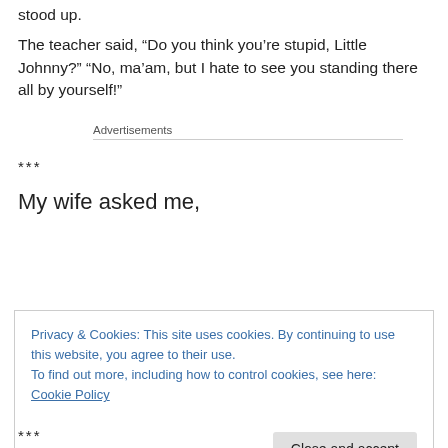stood up.
The teacher said, “Do you think you’re stupid, Little Johnny?” “No, ma’am, but I hate to see you standing there all by yourself!”
Advertisements
***
My wife asked me,
Privacy & Cookies: This site uses cookies. By continuing to use this website, you agree to their use.
To find out more, including how to control cookies, see here: Cookie Policy
Close and accept
***